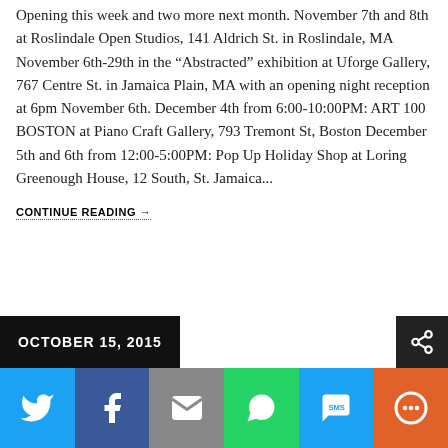Opening this week and two more next month. November 7th and 8th at Roslindale Open Studios, 141 Aldrich St. in Roslindale, MA November 6th-29th in the “Abstracted” exhibition at Uforge Gallery, 767 Centre St. in Jamaica Plain, MA with an opening night reception at 6pm November 6th. December 4th from 6:00-10:00PM: ART 100 BOSTON at Piano Craft Gallery, 793 Tremont St, Boston December 5th and 6th from 12:00-5:00PM: Pop Up Holiday Shop at Loring Greenough House, 12 South, St. Jamaica...
CONTINUE READING →
OCTOBER 15, 2015